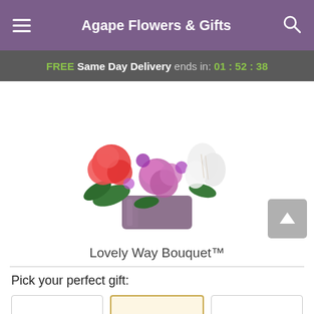Agape Flowers & Gifts
FREE Same Day Delivery ends in: 01 : 52 : 38
[Figure (photo): A floral bouquet arrangement called Lovely Way Bouquet, featuring pink roses, red/coral carnations, white alstroemeria lilies, and purple accent flowers in a square purple glass vase, set against a white background.]
Lovely Way Bouquet™
Pick your perfect gift: